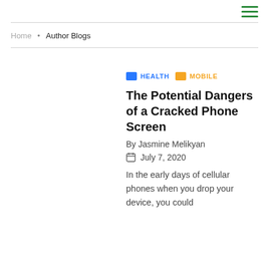[hamburger menu icon]
Home • Author Blogs
HEALTH   MOBILE
The Potential Dangers of a Cracked Phone Screen
By Jasmine Melikyan
July 7, 2020
In the early days of cellular phones when you drop your device, you could